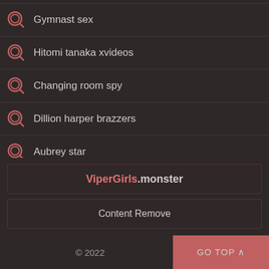Gymnast sex
Hitomi tanaka xvideos
Changing room spy
Dillion harper brazzers
Aubrey star
Caprice nude
Beach naked
ViperGirls.monster
Content Remove
© 2022   GO TOP ^